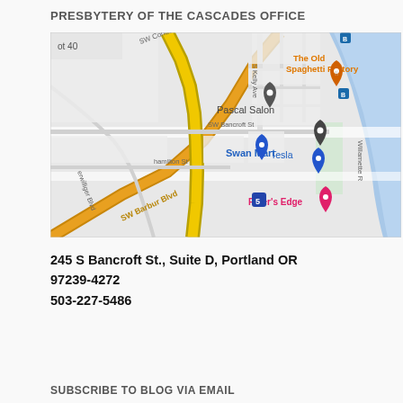PRESBYTERY OF THE CASCADES OFFICE
[Figure (map): Google Maps screenshot showing the area around 245 S Bancroft St, Portland OR. Shows SW Barbur Blvd, SW Bancroft St, Swan Mart, Pascal Salon, Tesla, River's Edge, The Old Spaghetti Factory, and the Willamette River.]
245 S Bancroft St., Suite D, Portland OR 97239-4272
503-227-5486
SUBSCRIBE TO BLOG VIA EMAIL